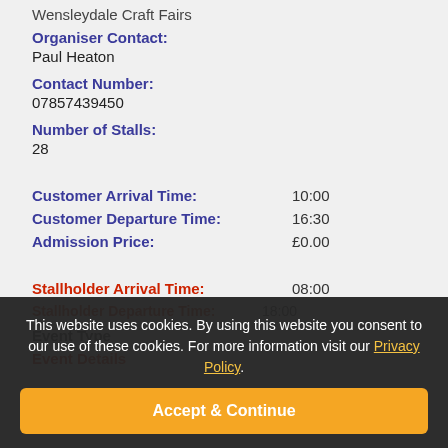Wensleydale Craft Fairs
Organiser Contact:
Paul Heaton
Contact Number:
07857439450
Number of Stalls:
28
Customer Arrival Time: 10:00
Customer Departure Time: 16:30
Admission Price: £0.00
Stallholder Arrival Time: 08:00
Stallholder Departure Time: 18:00
This website uses cookies. By using this website you consent to our use of these cookies. For more information visit our Privacy Policy.
Event Type
Accept & Continue
Event Details